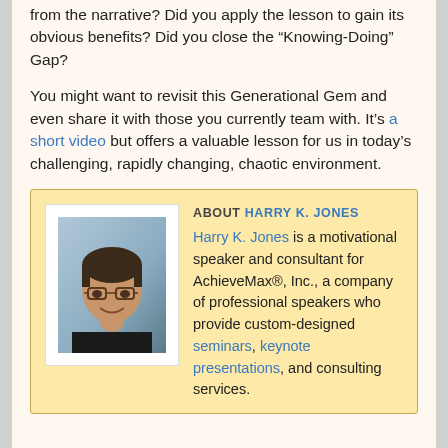from the narrative? Did you apply the lesson to gain its obvious benefits? Did you close the “Knowing-Doing” Gap?
You might want to revisit this Generational Gem and even share it with those you currently team with. It’s a short video but offers a valuable lesson for us in today’s challenging, rapidly changing, chaotic environment.
[Figure (photo): Headshot photo of Harry K. Jones, a man with dark hair and glasses, smiling, wearing a dark shirt, against a blue-grey background.]
ABOUT HARRY K. JONES
Harry K. Jones is a motivational speaker and consultant for AchieveMax®, Inc., a company of professional speakers who provide custom-designed seminars, keynote presentations, and consulting services.